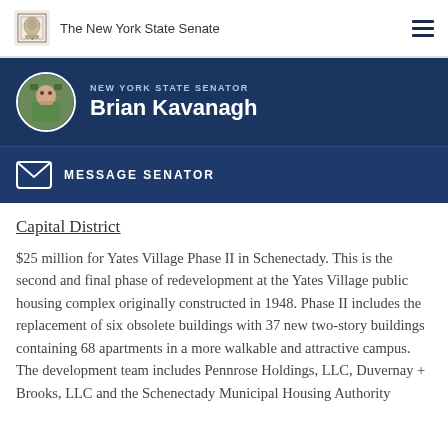The New York State Senate
[Figure (infographic): Senator Brian Kavanagh profile banner with circular photo, label NEW YORK STATE SENATOR, and name Brian Kavanagh on dark blue background]
MESSAGE SENATOR
Capital District
$25 million for Yates Village Phase II in Schenectady. This is the second and final phase of redevelopment at the Yates Village public housing complex originally constructed in 1948. Phase II includes the replacement of six obsolete buildings with 37 new two-story buildings containing 68 apartments in a more walkable and attractive campus. The development team includes Pennrose Holdings, LLC, Duvernay + Brooks, LLC and the Schenectady Municipal Housing Authority